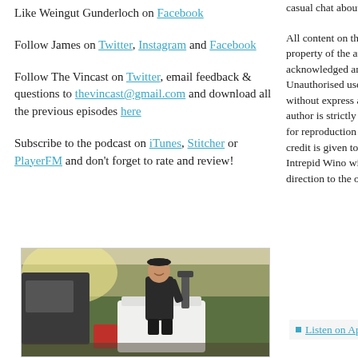Like Weingut Gunderloch on Facebook
Follow James on Twitter, Instagram and Facebook
Follow The Vincast on Twitter, email feedback & questions to thevincast@gmail.com and download all the previous episodes here
Subscribe to the podcast on iTunes, Stitcher or PlayerFM and don't forget to rate and review!
[Figure (photo): Person smiling outdoors next to large white container and equipment, with trees in background]
casual chat about the world of wine.
All content on this podcast remains the sole property of the author unless otherwise acknowledged and appropriately credited. Unauthorised use and/or duplication of content without express and written permission from the author is strictly prohibited. Content may be used for reproduction provided that full and clear credit is given to James Scarcebrook and/or The Intrepid Wino with appropriate and specific direction to the original content.
Listen on Apple